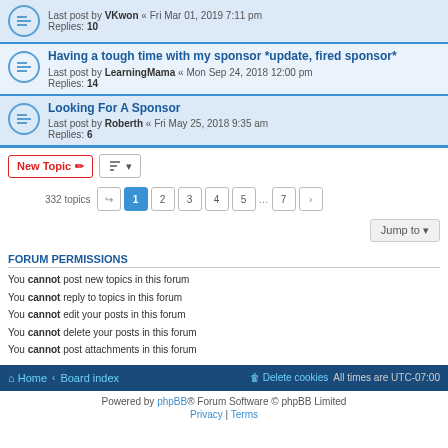Last post by VKwon « Fri Mar 01, 2019 7:11 pm
Replies: 10
Having a tough time with my sponsor *update, fired sponsor*
Last post by LearningMama « Mon Sep 24, 2018 12:00 pm
Replies: 14
Looking For A Sponsor
Last post by Roberth « Fri May 25, 2018 9:35 am
Replies: 6
332 topics  1 2 3 4 5 ... 7 >
Jump to
FORUM PERMISSIONS
You cannot post new topics in this forum
You cannot reply to topics in this forum
You cannot edit your posts in this forum
You cannot delete your posts in this forum
You cannot post attachments in this forum
Home · Board index   Delete cookies   All times are UTC-07:00
Powered by phpBB® Forum Software © phpBB Limited
Privacy | Terms